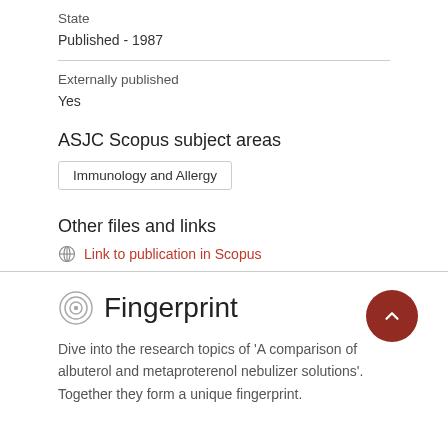State
Published - 1987
Externally published
Yes
ASJC Scopus subject areas
Immunology and Allergy
Other files and links
Link to publication in Scopus
Fingerprint
Dive into the research topics of 'A comparison of albuterol and metaproterenol nebulizer solutions'. Together they form a unique fingerprint.